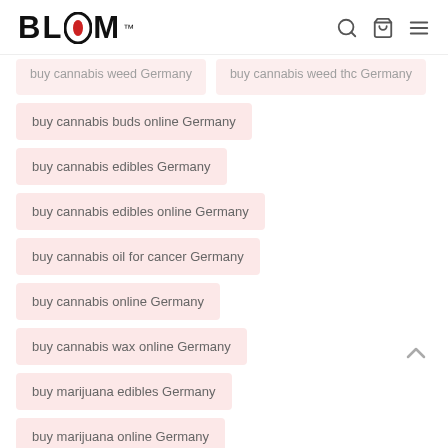BLOOM™
buy cannabis buds online Germany
buy cannabis edibles Germany
buy cannabis edibles online Germany
buy cannabis oil for cancer Germany
buy cannabis online Germany
buy cannabis wax online Germany
buy marijuana edibles Germany
buy marijuana online Germany